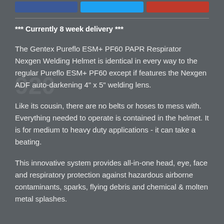*** Currently 8 week delivery ***
The Gentex Pureflo ESM+ PF60 PAPR Respirator Nexgen Welding Helmet is identical in every way to the regular Pureflo ESM+ PF60 except if features the Nexgen ADF auto-darkening 4" x 5" welding lens.
Like its cousin, there are no belts or hoses to mess with. Everything needed to operate is contained in the helmet. It is for medium to heavy duty applications - it can take a beating.
This innovative system provides all-in-one head, eye, face and respiratory protection against hazardous airborne contaminants, sparks, flying debris and chemical & molten metal splashes.